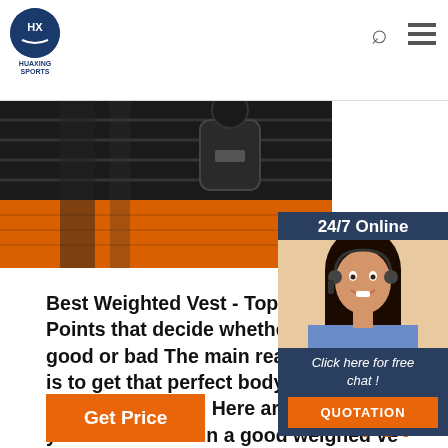HUAXING SPORTS
[Figure (photo): Close-up of a weighted vest showing orange fabric and black straps/buckle hardware]
[Figure (infographic): 24/7 Online chat widget showing a customer service agent photo, 'Click here for free chat!' text and QUOTATION button]
Best Weighted Vest - Top 5 Best Prod Points that decide whether a Weighte good or bad The main reason behind is to get that perfect body and weigh help you get one. Here are few of the you should look in a good weighed ve thing to look at the best weighted ves system. It should have a proper lock s that the muscles of the particular bod which you ...
Get Price
[Figure (illustration): Orange TOP button with dotted arc above]